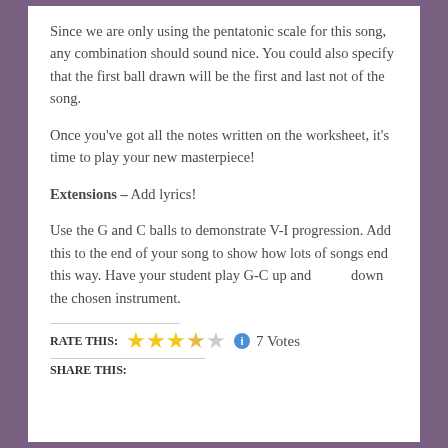Since we are only using the pentatonic scale for this song, any combination should sound nice. You could also specify that the first ball drawn will be the first and last not of the song.
Once you've got all the notes written on the worksheet, it's time to play your new masterpiece!
Extensions – Add lyrics!
Use the G and C balls to demonstrate V-I progression. Add this to the end of your song to show how lots of songs end this way. Have your student play G-C up and down the chosen instrument.
RATE THIS: ★★★★☆ ℹ 7 Votes
SHARE THIS: